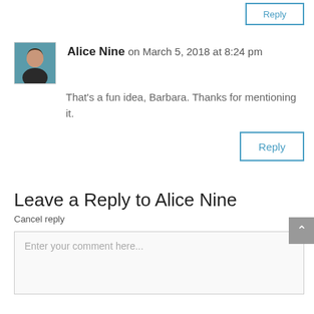[Figure (screenshot): Partial view of a Reply button at the top right of the page, with blue border and blue text.]
Alice Nine on March 5, 2018 at 8:24 pm
[Figure (photo): Small avatar photo of Alice Nine, a woman with short dark hair.]
That's a fun idea, Barbara. Thanks for mentioning it.
[Figure (screenshot): Reply button with blue border and blue text reading Reply.]
Leave a Reply to Alice Nine
Cancel reply
Enter your comment here...